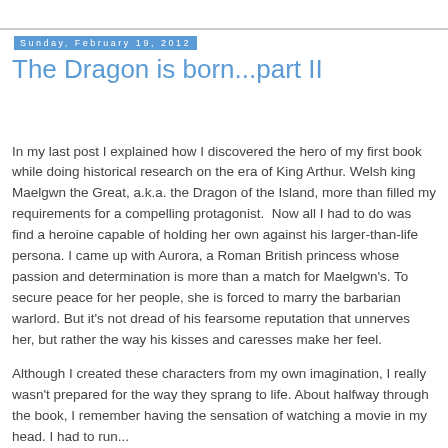Sunday, February 19, 2012
The Dragon is born...part II
In my last post I explained how I discovered the hero of my first book while doing historical research on the era of King Arthur. Welsh king Maelgwn the Great, a.k.a. the Dragon of the Island, more than filled my requirements for a compelling protagonist.  Now all I had to do was find a heroine capable of holding her own against his larger-than-life persona. I came up with Aurora, a Roman British princess whose passion and determination is more than a match for Maelgwn's. To secure peace for her people, she is forced to marry the barbarian warlord. But it's not dread of his fearsome reputation that unnerves her, but rather the way his kisses and caresses make her feel.
	Although I created these characters from my own imagination, I really wasn't prepared for the way they sprang to life. About halfway through the book, I remember having the sensation of watching a movie in my head. I had to run...